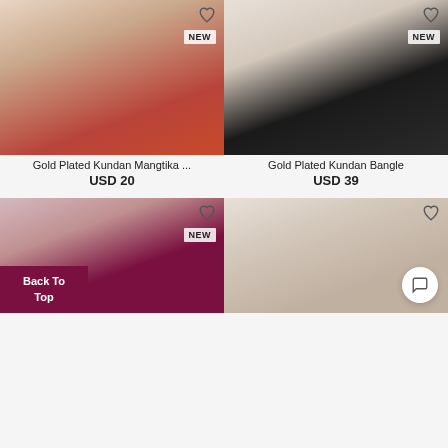[Figure (photo): Model wearing gold plated kundan maangtika jewelry on forehead, red saree]
Gold Plated Kundan Mangtika ...
USD 20
[Figure (photo): Model wearing gold plated kundan bangle, black off-shoulder top]
Gold Plated Kundan Bangle
USD 39
[Figure (photo): Model wearing new jewelry, dark maroon background]
[Figure (photo): Model showing jewelry, light background]
Back To Top
[Figure (illustration): Chat button icon]